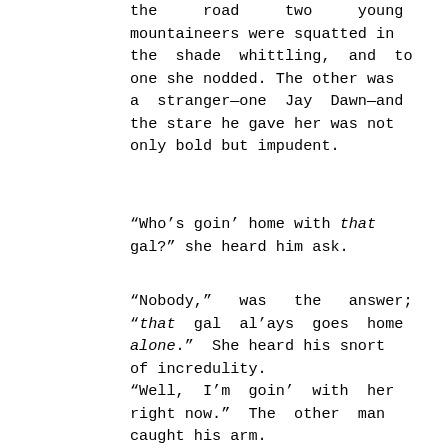the road two young mountaineers were squatted in the shade whittling, and to one she nodded. The other was a stranger—one Jay Dawn—and the stare he gave her was not only bold but impudent.
“Who’s goin’ home with that gal?” she heard him ask.
“Nobody,” was the answer; “that gal al’ays goes home alone.” She heard his snort of incredulity.
“Well, I’m goin’ with her right now.” The other man caught his arm.
“No, you ain’t”—and she heard no more.